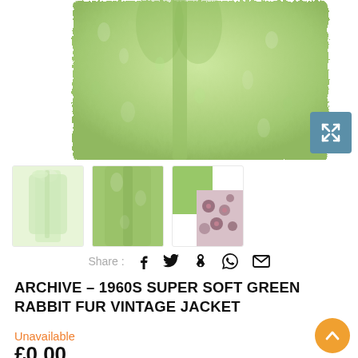[Figure (photo): Main product image: light green / sage rabbit fur vintage jacket displayed on white background, cropped to show torso. Expand icon (blue button with X arrows) in bottom-right corner of image.]
[Figure (photo): Three thumbnail images of the green fur jacket: full front view (very light green), front view (darker green), and close-up of lining showing floral pattern.]
Share : f  (twitter bird)  p  (whatsapp)  (mail)
ARCHIVE – 1960S SUPER SOFT GREEN RABBIT FUR VINTAGE JACKET
Unavailable
£0.00